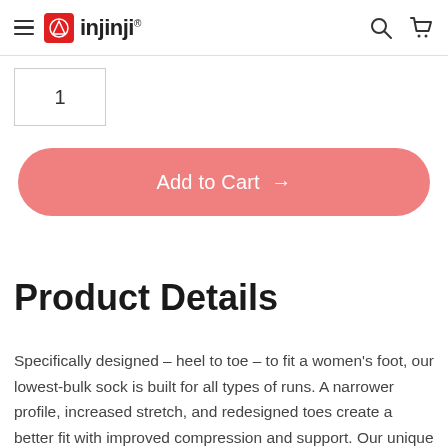injinji (navigation header with hamburger menu, logo, search and cart icons)
1
Add to Cart →
Product Details
Specifically designed – heel to toe – to fit a women's foot, our lowest-bulk sock is built for all types of runs. A narrower profile, increased stretch, and redesigned toes create a better fit with improved compression and support. Our unique five-toe